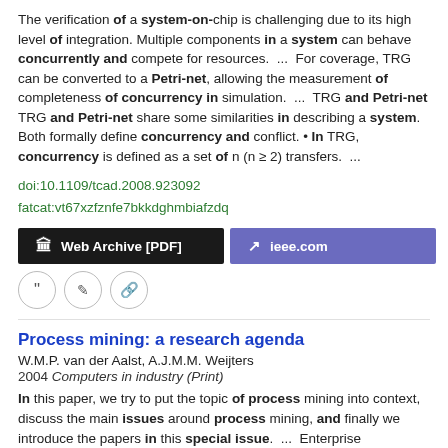The verification of a system-on-chip is challenging due to its high level of integration. Multiple components in a system can behave concurrently and compete for resources. ... For coverage, TRG can be converted to a Petri-net, allowing the measurement of completeness of concurrency in simulation. ... TRG and Petri-net TRG and Petri-net share some similarities in describing a system. Both formally define concurrency and conflict. • In TRG, concurrency is defined as a set of n (n ≥ 2) transfers. ...
doi:10.1109/tcad.2008.923092
fatcat:vt67xzfznfe7bkkdghmbiafzdq
Web Archive [PDF]   ieee.com
Process mining: a research agenda
W.M.P. van der Aalst, A.J.M.M. Weijters
2004 Computers in industry (Print)
In this paper, we try to put the topic of process mining into context, discuss the main issues around process mining, and finally we introduce the papers in this special issue. ... Enterprise information systems support and control operational business processes